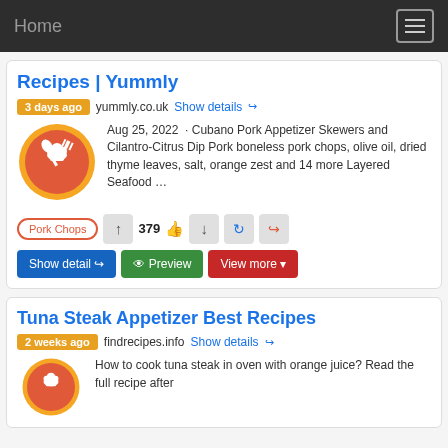Home
Recipes | Yummly
3 days ago  yummly.co.uk  Show details
Aug 25, 2022 · Cubano Pork Appetizer Skewers and Cilantro-Citrus Dip Pork boneless pork chops, olive oil, dried thyme leaves, salt, orange zest and 14 more Layered Seafood …
Pork Chops  379  Show detail  Preview  View more
Tuna Steak Appetizer Best Recipes
2 weeks ago  findrecipes.info  Show details
How to cook tuna steak in oven with orange juice? Read the full recipe after